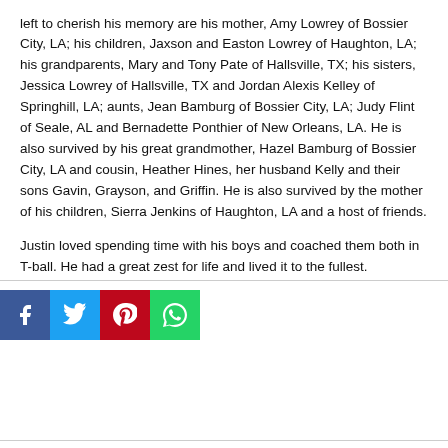left to cherish his memory are his mother, Amy Lowrey of Bossier City, LA; his children, Jaxson and Easton Lowrey of Haughton, LA; his grandparents, Mary and Tony Pate of Hallsville, TX; his sisters, Jessica Lowrey of Hallsville, TX and Jordan Alexis Kelley of Springhill, LA; aunts, Jean Bamburg of Bossier City, LA; Judy Flint of Seale, AL and Bernadette Ponthier of New Orleans, LA. He is also survived by his great grandmother, Hazel Bamburg of Bossier City, LA and cousin, Heather Hines, her husband Kelly and their sons Gavin, Grayson, and Griffin. He is also survived by the mother of his children, Sierra Jenkins of Haughton, LA and a host of friends.
Justin loved spending time with his boys and coached them both in T-ball. He had a great zest for life and lived it to the fullest.
[Figure (other): Social media sharing buttons: Facebook (blue), Twitter (light blue), Pinterest (red), WhatsApp (green)]